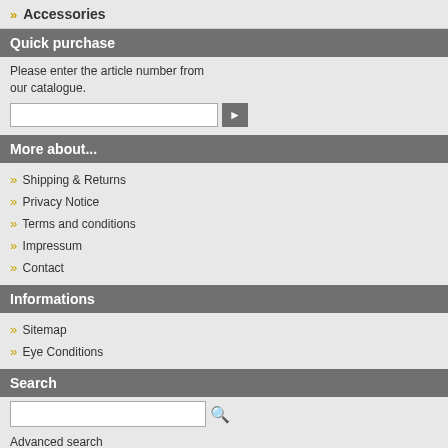Accessories
Quick purchase
Please enter the article number from our catalogue.
More about...
Shipping & Returns
Privacy Notice
Terms and conditions
Impressum
Contact
Informations
Sitemap
Eye Conditions
Search
Advanced search
Daisy Player, Victor r
ClassicX+, V
Daisy player,
Victor n
Victor re
Victor r
For audio and MP3 CD
Portable,
E
Va
The victor reader Classic
audio and MP3 CDs
audiobooks and much mo
does not support CD, bu
Braille display
Eas